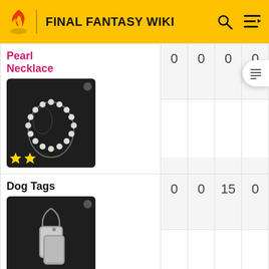FINAL FANTASY WIKI
| Item | Col1 | Col2 | Col3 | Col4 |
| --- | --- | --- | --- | --- |
| Pearl Necklace | 0 | 0 | 0 | 0 |
| Dog Tags | 0 | 0 | 15 | 0 |
| Circlet | 0 | 0 | 15 | 0 |